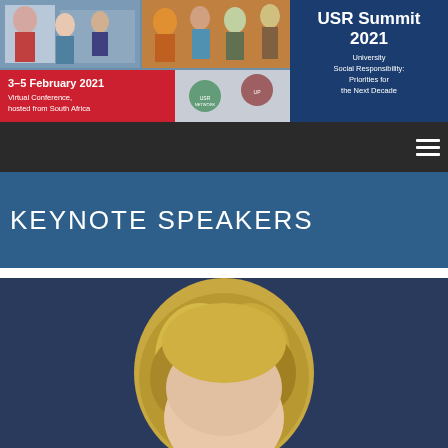[Figure (photo): USR Summit 2021 banner with photo collage of diverse people engaged in community activities, red date section, blue title panel, and logos]
USR Summit 2021
University Social Responsibility: Priorities for the Next Decade
3–5 February 2021
Virtual Conference, hosted from South Africa
[Figure (screenshot): Dark navigation bar with hamburger menu icon on the right]
KEYNOTE SPEAKERS
[Figure (photo): Portrait photo of a blonde person against a dark blue background, partially cropped]